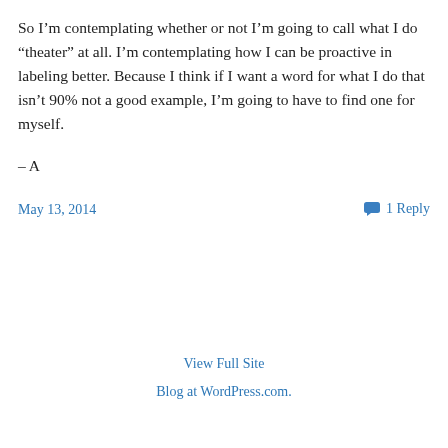So I’m contemplating whether or not I’m going to call what I do “theater” at all. I’m contemplating how I can be proactive in labeling better. Because I think if I want a word for what I do that isn’t 90% not a good example, I’m going to have to find one for myself.
– A
May 13, 2014
1 Reply
View Full Site
Blog at WordPress.com.